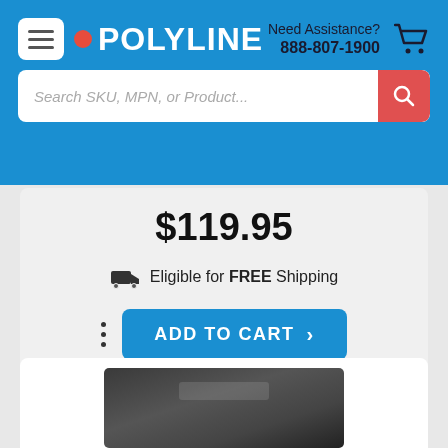POLYLINE | Need Assistance? 888-807-1900
Search SKU, MPN, or Product...
$119.95
Eligible for FREE Shipping
ADD TO CART
[Figure (photo): Partial view of a black electronic device (scanner or similar) shown from above at an angle, cut off at the bottom of the page]